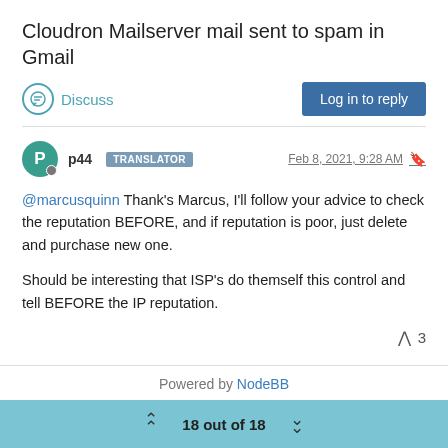Cloudron Mailserver mail sent to spam in Gmail
Discuss
Log in to reply
p44 TRANSLATOR Feb 8, 2021, 9:28 AM
@marcusquinn Thank's Marcus, I'll follow your advice to check the reputation BEFORE, and if reputation is poor, just delete and purchase new one.

Should be interesting that ISP's do themself this control and tell BEFORE the IP reputation.
3
Powered by NodeBB
18 out of 18